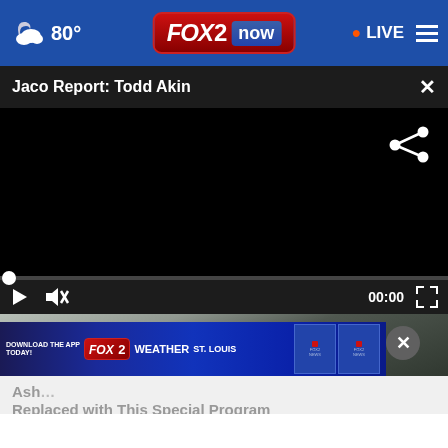FOX 2 now — 80° — LIVE
Jaco Report: Todd Akin
[Figure (screenshot): Black video player area with share icon in top right corner]
[Figure (screenshot): Video player controls bar showing play button, mute button, 00:00 timestamp, and fullscreen button on dark background]
[Figure (screenshot): Partially visible newspaper/document image below video player]
[Figure (screenshot): Fox 2 Weather St. Louis app download advertisement banner with phone images]
Ash… Replaced with This Special Program